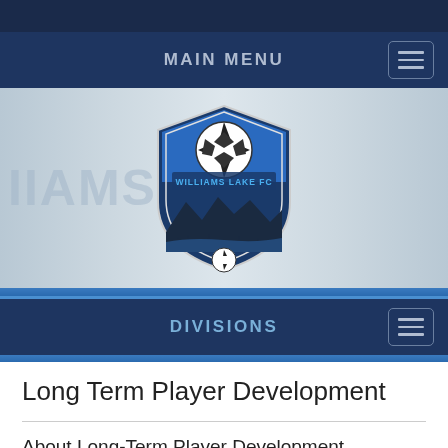MAIN MENU
[Figure (logo): Williams Lake FC shield logo with soccer ball and mountain landscape, blue and black color scheme]
DIVISIONS
Long Term Player Development
About Long-Term Player Development
Long-Term Player Development (LTPD) is a CSA soccer specific